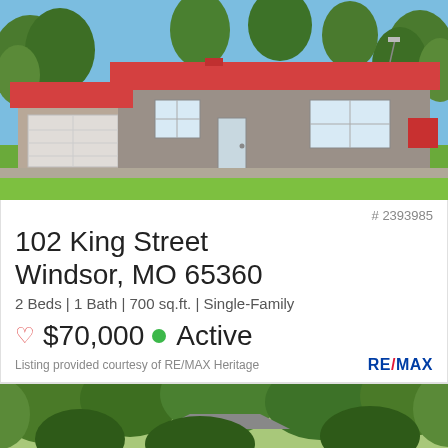[Figure (photo): Exterior photo of a single-family home with red metal roof, tan/gray siding, attached garage, and green lawn under blue sky.]
# 2393985
102 King Street
Windsor, MO 65360
2 Beds | 1 Bath | 700 sq.ft. | Single-Family
♡ $70,000 ● Active
Listing provided courtesy of RE/MAX Heritage
RE/MAX
[Figure (photo): Partial exterior photo of another property with trees visible, shown cropped at bottom of page.]